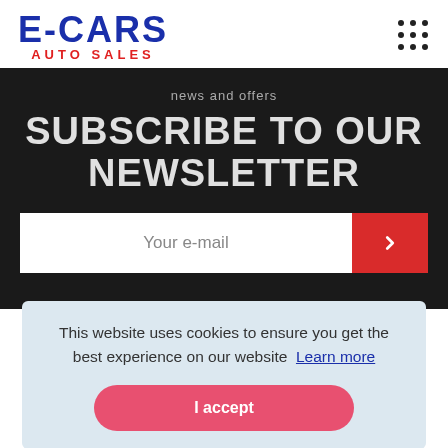[Figure (logo): E-CARS AUTO SALES logo: 'E-CARS' in large bold dark blue text, 'AUTO SALES' in smaller bold red text below, centered under the E-CARS text]
[Figure (other): 3x3 grid of black dots (menu/hamburger icon)]
news and offers
SUBSCRIBE TO OUR NEWSLETTER
Your e-mail
This website uses cookies to ensure you get the best experience on our website  Learn more
I accept
FOLLOW US